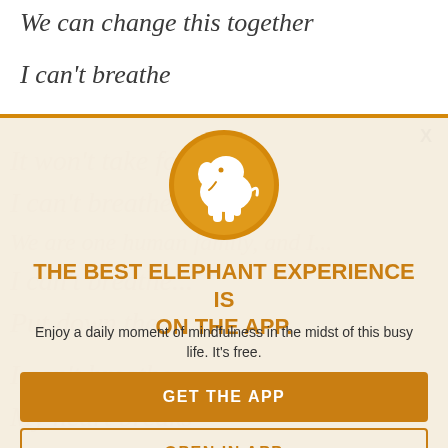We can change this together
I can't breathe
[Figure (illustration): Orange circle with white elephant silhouette logo for Elephant app]
THE BEST ELEPHANT EXPERIENCE IS ON THE APP.
Enjoy a daily moment of mindfulness in the midst of this busy life. It's free.
GET THE APP
OPEN IN APP